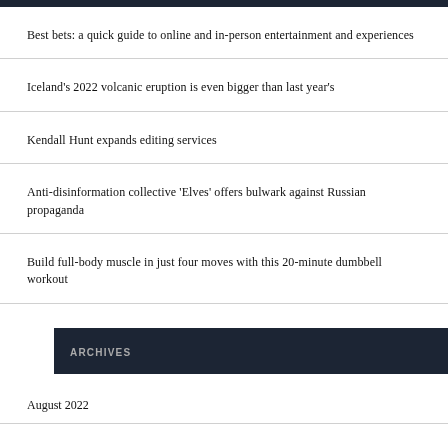Best bets: a quick guide to online and in-person entertainment and experiences
Iceland's 2022 volcanic eruption is even bigger than last year's
Kendall Hunt expands editing services
Anti-disinformation collective 'Elves' offers bulwark against Russian propaganda
Build full-body muscle in just four moves with this 20-minute dumbbell workout
ARCHIVES
August 2022